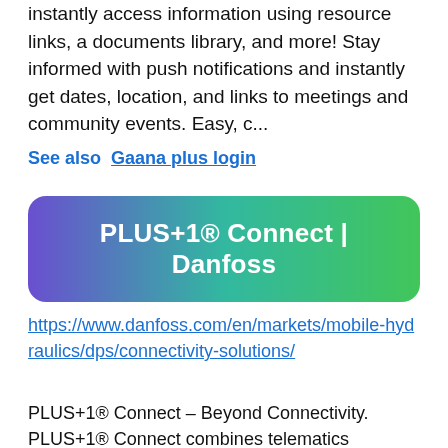instantly access information using resource links, a documents library, and more! Stay informed with push notifications and instantly get dates, location, and links to meetings and community events. Easy, c...
See also  Gaana plus login
[Figure (other): Banner graphic with gradient background (purple to teal to green) and white bold text reading PLUS+1® Connect | Danfoss]
https://www.danfoss.com/en/markets/mobile-hydraulics/dps/connectivity-solutions/
PLUS+1® Connect – Beyond Connectivity. PLUS+1® Connect combines telematics